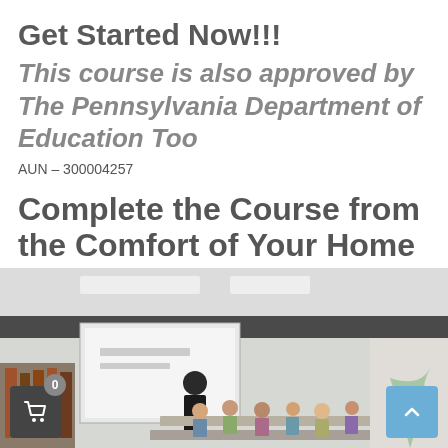Get Started Now!!!
This course is also approved by The Pennsylvania Department of Education Too
AUN – 300004257
Complete the Course from the Comfort of Your Home
[Figure (photo): Classroom scene showing a presenter standing near a projection screen while a group of adults sit at tables, appearing to be in a professional development or training session in a library or media center setting.]